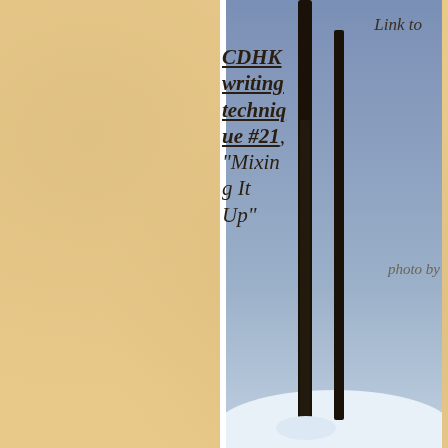Link to
CDHK writing technique #21, "Mixing It Up"
[Figure (photo): A winter scene showing dark tree trunks or branches against a background of snow and blue-grey sky. The photo has a white border on its left and bottom edges.]
photo by